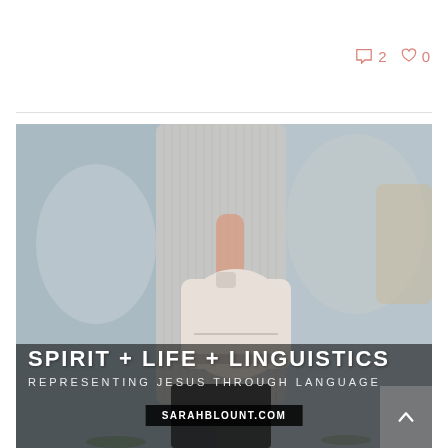2  0
[Figure (photo): Fashion photo of a person wearing a long knit cardigan and holding a small cream-colored backpack, with text overlay reading SPIRIT + LIFE + LINGUISTICS / REPRESENTING JESUS THROUGH LANGUAGE / SARAHBLOUNT.COM]
SPIRIT + LIFE  + LINGUISTICS
REPRESENTING JESUS THROUGH LANGUAGE
SARAHBLOUNT.COM